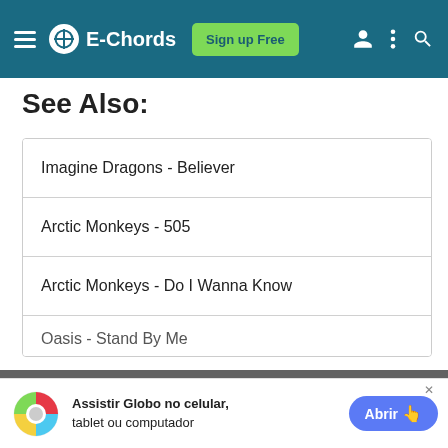E-Chords | Sign up Free
See Also:
Imagine Dragons - Believer
Arctic Monkeys - 505
Arctic Monkeys - Do I Wanna Know
Oasis - Stand By Me
E-Chords uses cookies for functional and analytical purposes. Please read our Privacy Policy for more information.
Assistir Globo no celular, tablet ou computador | Abrir